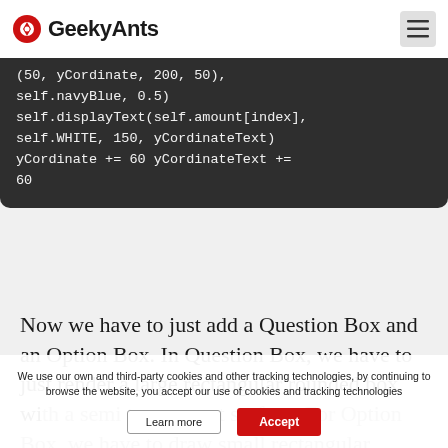GeekyAnts
(50, yCordinate, 200, 50),
self.navyBlue, 0.5)
self.displayText(self.amount[index],
self.WHITE, 150, yCordinateText)
yCordinate += 60 yCordinateText +=
60
Now we have to just add a Question Box and an Option Box. In Question Box, we have to just render a large rectangular rounded box with a semi transparent surface. For Option Box, we have to draw small rectangular rounded boxes with their
We use our own and third-party cookies and other tracking technologies, by continuing to browse the website, you accept our use of cookies and tracking technologies
Accept
Learn more